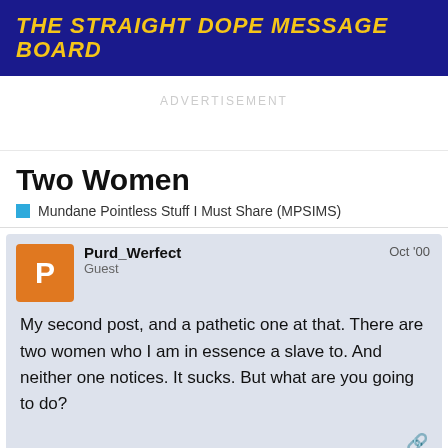THE STRAIGHT DOPE MESSAGE BOARD
ADVERTISEMENT
Two Women
Mundane Pointless Stuff I Must Share (MPSIMS)
Purd_Werfect
Guest
Oct '00
My second post, and a pathetic one at that. There are two women who I am in essence a slave to. And neither one notices. It sucks. But what are you going to do?
created   last reply   7
1 / 8